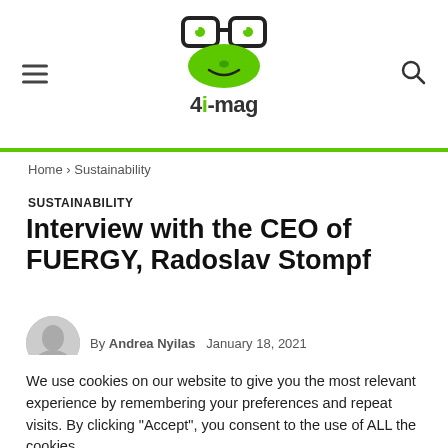[Figure (logo): 4i-mag logo: green cartoon frog face wearing glasses above text '4i-mag']
Home › Sustainability
SUSTAINABILITY
Interview with the CEO of FUERGY, Radoslav Stompf
By Andrea Nyilas   January 18, 2021
We use cookies on our website to give you the most relevant experience by remembering your preferences and repeat visits. By clicking "Accept", you consent to the use of ALL the cookies.
Cookie settings   ACCEPT